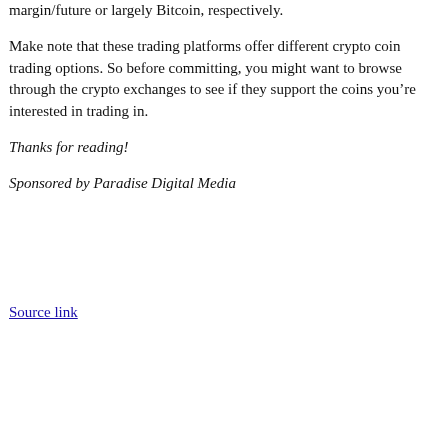margin/future or largely Bitcoin, respectively.
Make note that these trading platforms offer different crypto coin trading options. So before committing, you might want to browse through the crypto exchanges to see if they support the coins you’re interested in trading in.
Thanks for reading!
Sponsored by Paradise Digital Media
Source link